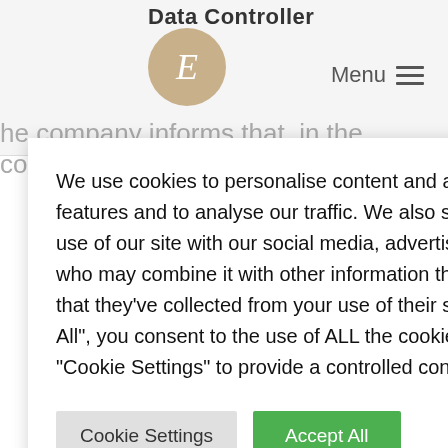Data Controller
[Figure (other): Circular avatar with letter E in italic, beige/tan background]
Menu ≡
The company informs that, in the context of personal ... visitors ... ional ... ion ... al ... ng of ... ment of ... s the ... ssing of ... to the ...
We use cookies to personalise content and ads, to provide social media features and to analyse our traffic. We also share information about your use of our site with our social media, advertising and analytics partners who may combine it with other information that you've provided to them or that they've collected from your use of their services. By clicking "Accept All", you consent to the use of ALL the cookies. However, you may visit "Cookie Settings" to provide a controlled consent.
Cookie Settings
Accept All
email address info@epitomee.design or call